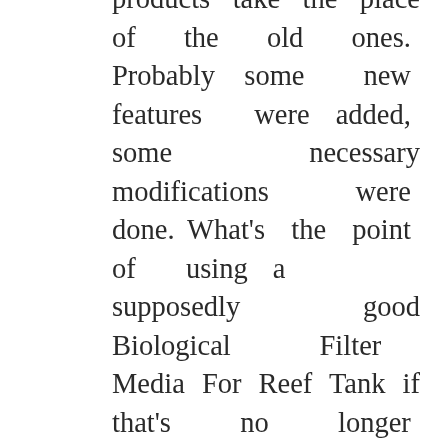come and go, new products take the place of the old ones. Probably some new features were added, some necessary modifications were done. What's the point of using a supposedly good Biological Filter Media For Reef Tank if that's no longer continued by the manufacturer? We try to feature products that are up-to-date and sold by at least one reliable seller, if not several.
10. Negative Ratings: Yes, we take that into